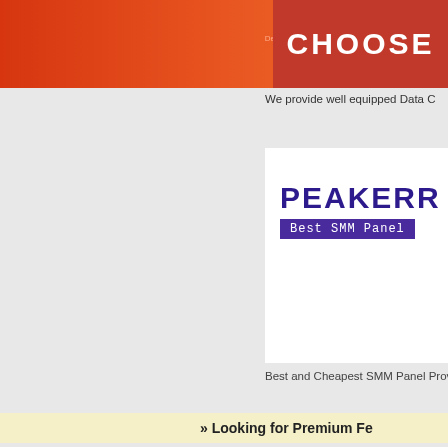[Figure (screenshot): Orange/red top banner with CHOOSE text on right side]
We provide well equipped Data C
[Figure (logo): PEAKERR Best SMM Panel banner with white and purple sections]
Best and Cheapest SMM Panel Providers for TikTok, Instagra
»» Looking for Premium Fe
411 Free Directory.com / Travel / Travelogues / 5 Top-Rated Tourist Attractions in Ir
Our Partners
» BUY DELTA 8 VAPE JUICE, DELTA 8 MOON ROCKS, HHC VAPE JUICE, DELTA 8 THC VAPE JUICE Premium Delta 8 THC, HHC, CBD Oil, THCO and more.
» London Escorts London Escort Agency Girls Near By Outcall Female Escorts Cheap Local Escorts
» PFBERNAL ABOGADOS EXTRANJERIA abogados extranjeria
5 Top-Rated Attractions i
Website URL: https://skyviewpatnitop.c
Category: Travelogues
India is a lively place that is known for su present-day universes meet. The world's biggest as far as a populace, India flaunt geographic locations.
PUT YOUR